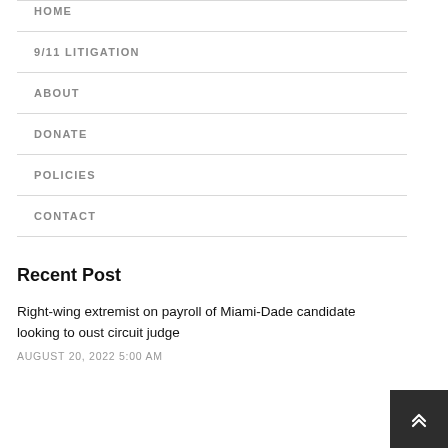HOME
9/11 LITIGATION
ABOUT
DONATE
POLICIES
CONTACT
Recent Post
Right-wing extremist on payroll of Miami-Dade candidate looking to oust circuit judge
AUGUST 20, 2022 5:00 AM